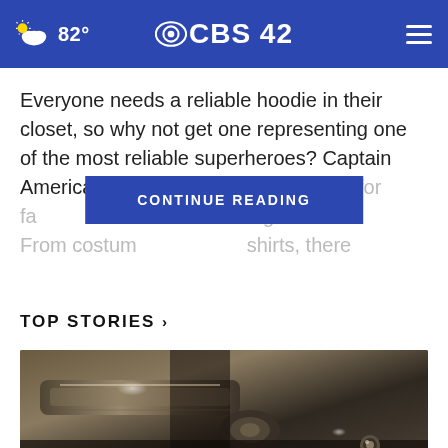82° CBS 42
Everyone needs a reliable hoodie in their closet, so why not get one representing one of the most reliable superheroes? Captain America hoodies are readily available for fa[ns of the shield-]led Avenger. From costum[e hoodies to graphic t-]shirts, there
TOP STORIES ›
[Figure (photo): Close-up photo of metallic hardware, appearing to be gun or mechanical parts with reflective metal surfaces in dark tones]